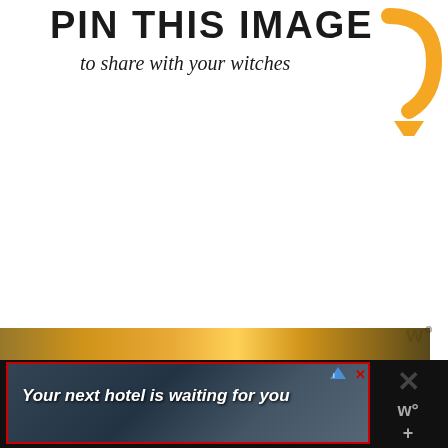PIN THIS IMAGE
to share with your witches
[Figure (illustration): Orange curved arrow pointing downward to the right, used as a Pinterest call-to-action graphic]
w°
[Figure (photo): Strip of food image visible at the bottom of the page]
[Figure (screenshot): Advertisement banner: 'Your next hotel is waiting for you' with hotel/landscape background image, red border, AdChoices icon, and close (X) button]